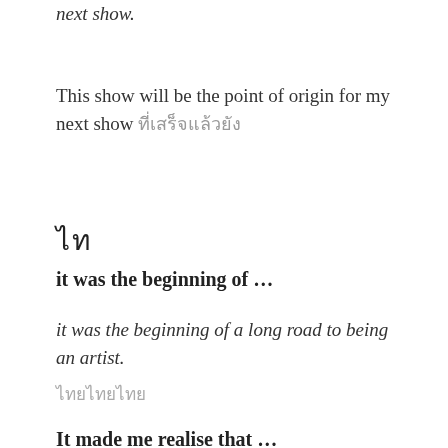next show.
This show will be the point of origin for my next show ที่เสร็จแล้วยัง
ไทย
it was the beginning of …
it was the beginning of a long road to being an artist.
ไทยไทยไทย
It made me realise that …
It made me realise art does not have to be a